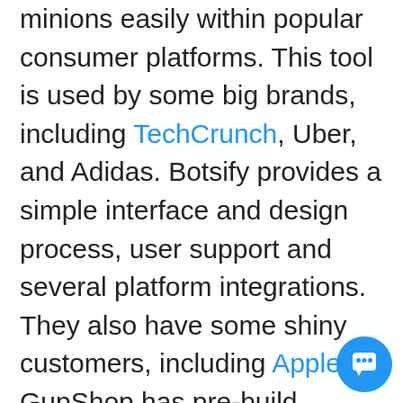minions easily within popular consumer platforms. This tool is used by some big brands, including TechCrunch, Uber, and Adidas. Botsify provides a simple interface and design process, user support and several platform integrations. They also have some shiny customers, including Apple! GupShop has pre-build templates, and building tools for everyone (bot...
[Figure (other): Blue circular chat bubble button in the bottom-right corner]